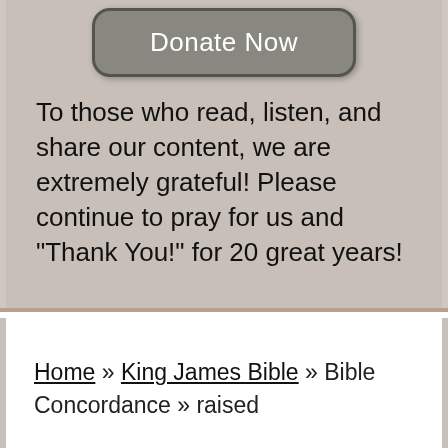[Figure (other): Donate Now button — rounded rectangle button with dark gray background and white text]
To those who read, listen, and share our content, we are extremely grateful! Please continue to pray for us and "Thank You!" for 20 great years!
Home » King James Bible » Bible Concordance » raised